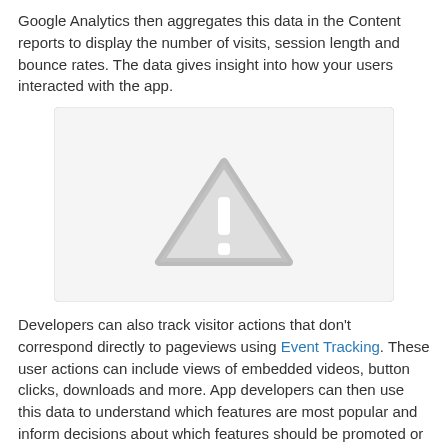Google Analytics then aggregates this data in the Content reports to display the number of visits, session length and bounce rates. The data gives insight into how your users interacted with the app.
[Figure (other): Placeholder image box with a grey warning/image-unavailable triangle icon with exclamation mark]
Developers can also track visitor actions that don't correspond directly to pageviews using Event Tracking. These user actions can include views of embedded videos, button clicks, downloads and more. App developers can then use this data to understand which features are most popular and inform decisions about which features should be promoted or prioritized for further development.
[Figure (other): Placeholder image box, partially visible at the bottom of the page]